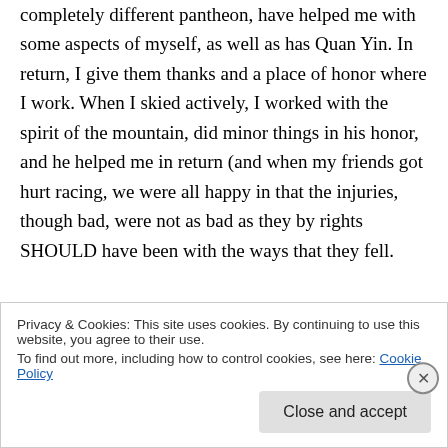completely different pantheon, have helped me with some aspects of myself, as well as has Quan Yin. In return, I give them thanks and a place of honor where I work. When I skied actively, I worked with the spirit of the mountain, did minor things in his honor, and he helped me in return (and when my friends got hurt racing, we were all happy in that the injuries, though bad, were not as bad as they by rights SHOULD have been with the ways that they fell.

Again, these are my experiences in my own
Privacy & Cookies: This site uses cookies. By continuing to use this website, you agree to their use.
To find out more, including how to control cookies, see here: Cookie Policy